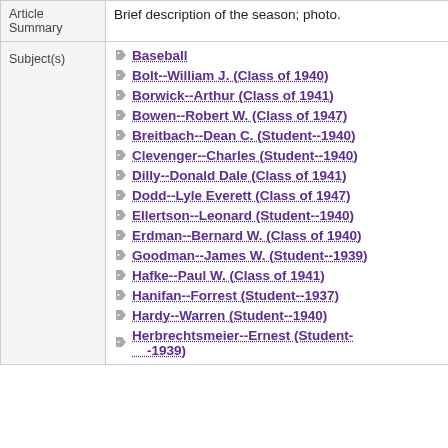| Article Summary | Brief description of the season; photo. |
| --- | --- |
| Subject(s) | Baseball | Bolt--William J. (Class of 1940) | Borwick--Arthur (Class of 1941) | Bowen--Robert W. (Class of 1947) | Breitbach--Dean C. (Student--1940) | Clevenger--Charles (Student--1940) | Dilly--Donald Dale (Class of 1941) | Dodd--Lyle Everett (Class of 1947) | Ellertson--Leonard (Student--1940) | Erdman--Bernard W. (Class of 1940) | Goodman--James W. (Student--1939) | Hafke--Paul W. (Class of 1941) | Hanifan--Forrest (Student--1937) | Hardy--Warren (Student--1940) | Herbrechtsmeier--Ernest (Student--1939) |